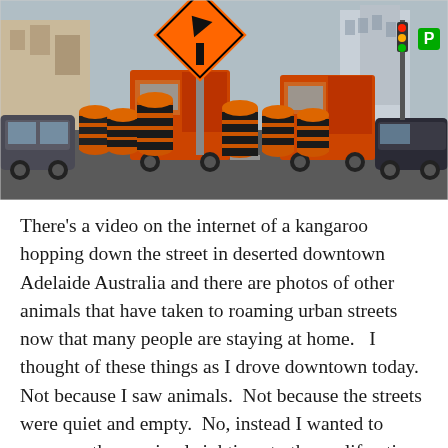[Figure (photo): Street scene with orange and black striped construction barrels/drums lined up on a road, a large orange diamond-shaped detour/merge sign with a black arrow pointing upper-right, dump trucks and cars visible, urban city buildings in the background, overcast daylight.]
There's a video on the internet of a kangaroo hopping down the street in deserted downtown Adelaide Australia and there are photos of other animals that have taken to roaming urban streets now that many people are staying at home.   I thought of these things as I drove downtown today.  Not because I saw animals.  Not because the streets were quiet and empty.  No, instead I wanted to compare these animal sightings to the proliferation of